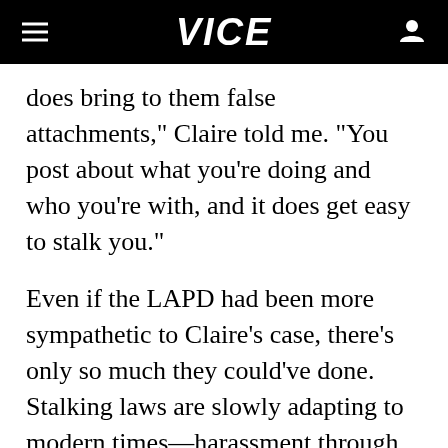VICE
does bring to them false attachments," Claire told me. "You post about what you're doing and who you're with, and it does get easy to stalk you."
Even if the LAPD had been more sympathetic to Claire's case, there's only so much they could've done. Stalking laws are slowly adapting to modern times—harassment through email or social media is, for example, now a crime in states like California—but the act of stalking itself is still a low-level crime, and one that's hard to punish. Stalking crimes are generally